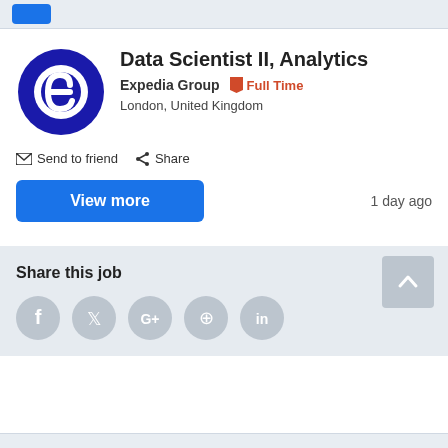[Figure (screenshot): Top navigation bar with blue button]
Data Scientist II, Analytics
Expedia Group  Full Time
London, United Kingdom
Send to friend  Share
View more
1 day ago
Share this job
[Figure (screenshot): Social share buttons: Facebook, Twitter, Google+, Pinterest, LinkedIn]
[Figure (screenshot): Scroll-to-top button with upward chevron]